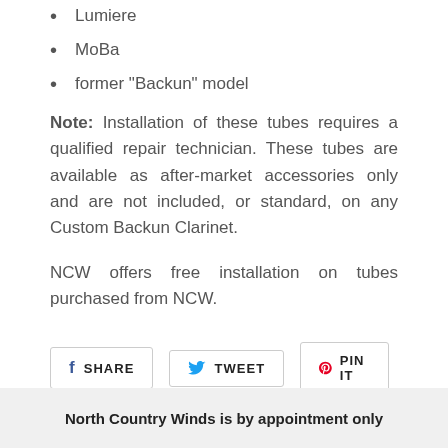Lumiere
MoBa
former "Backun" model
Note: Installation of these tubes requires a qualified repair technician. These tubes are available as after-market accessories only and are not included, or standard, on any Custom Backun Clarinet.
NCW offers free installation on tubes purchased from NCW.
[Figure (infographic): Social sharing buttons: Facebook Share, Twitter Tweet, Pinterest Pin It]
North Country Winds is by appointment only